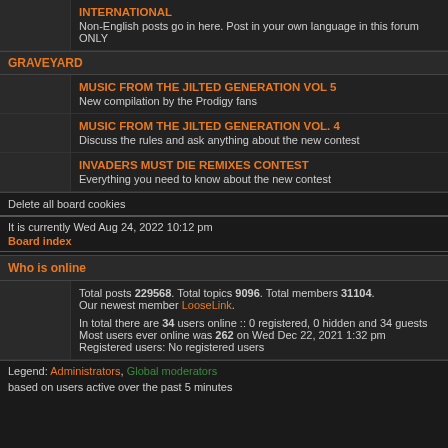INTERNATIONAL
Non-English posts go in here. Post in your own language in this forum ONLY
GRAVEYARD
MUSIC FROM THE JILTED GENERATION VOL 5
New compilation by the Prodigy fans
MUSIC FROM THE JILTED GENERATION VOL. 4
Discuss the rules and ask anything about the new contest
INVADERS MUST DIE REMIXES CONTEST
Everything you need to know about the new contest
Delete all board cookies
It is currently Wed Aug 24, 2022 10:12 pm
Board index
Who is online
Total posts 229568. Total topics 9096. Total members 31104. Our newest member LooseLink.
In total there are 34 users online :: 0 registered, 0 hidden and 34 guests Most users ever online was 262 on Wed Dec 22, 2021 1:32 pm Registered users: No registered users
Legend: Administrators, Global moderators
based on users active over the past 5 minutes